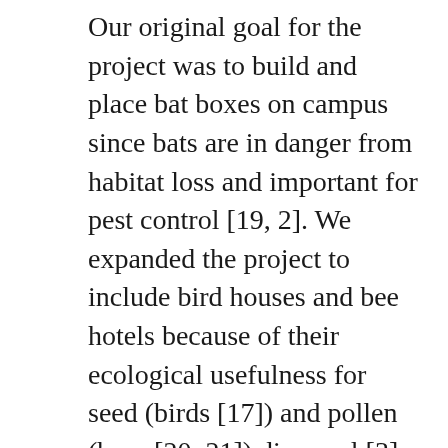Our original goal for the project was to build and place bat boxes on campus since bats are in danger from habitat loss and important for pest control [19, 2]. We expanded the project to include bird houses and bee hotels because of their ecological usefulness for seed (birds [17]) and pollen (bees [20, 21]) dispersal [3]. OWU Alumnus Dick Tuttle joined our project, suggesting we build carolina wren nesting boxes and expand the project to include squirrel dens. Squirrels are important for tree growth and forest succession [4].
Dick Tuttle guided us on the construction of the bird houses and locations to hang them. We summarized our proposed work in a